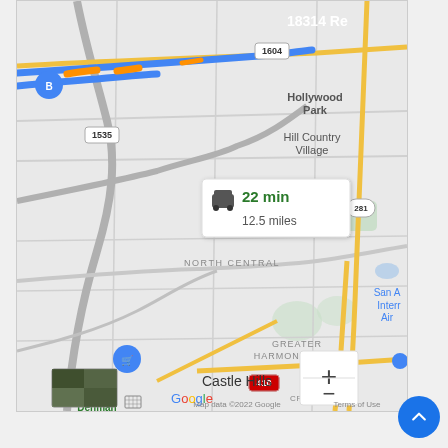[Figure (map): Google Maps screenshot showing San Antonio area including Hollywood Park, Hill Country Village, North Central, Greater Harmony Hills, Castle Hills, Crownhill, Shearer/Ridgeview neighborhoods. Shows route 1604, 1535, 281, 410. Blue highlighted route with orange traffic markers. Navigation popup shows 22 min / 12.5 miles. Map data 2022 Google. Zoom +/- controls visible. Small satellite thumbnail in lower left. Blue shopping cart pin marker visible.]